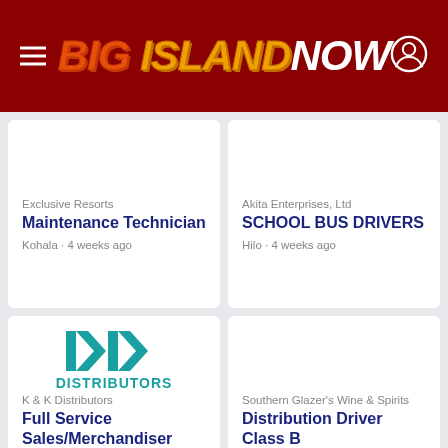BIG ISLAND NOW
Exclusive Resorts
Maintenance Technician
Kohala · 4 weeks ago
Akita Enterprises, Ltd
SCHOOL BUS DRIVERS
Hilo · 4 weeks ago
K & K Distributors
Full Service Sales/Merchandiser Representative
Hilo · 4 weeks ago
Southern Glazer's Wine & Spirits
Distribution Driver Class B
Kohala · 1 month ago
Looking for locally based talent?